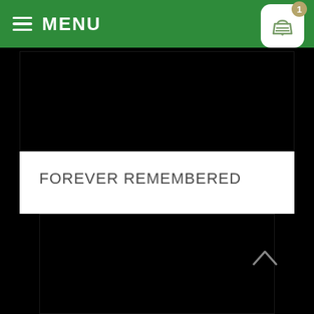MENU
[Figure (photo): Black image area at top of product page]
FOREVER REMEMBERED
$200.00
ADD TO CART
[Figure (photo): Second black image area at bottom of page]